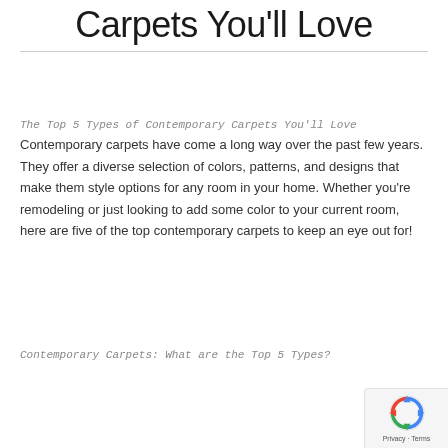Carpets You'll Love
The Top 5 Types of Contemporary Carpets You'll Love Contemporary carpets have come a long way over the past few years. They offer a diverse selection of colors, patterns, and designs that make them style options for any room in your home. Whether you're remodeling or just looking to add some color to your current room, here are five of the top contemporary carpets to keep an eye out for!
Contemporary Carpets: What are the Top 5 Types?
[Figure (logo): reCAPTCHA badge with spinning arrows icon and Privacy - Terms text]